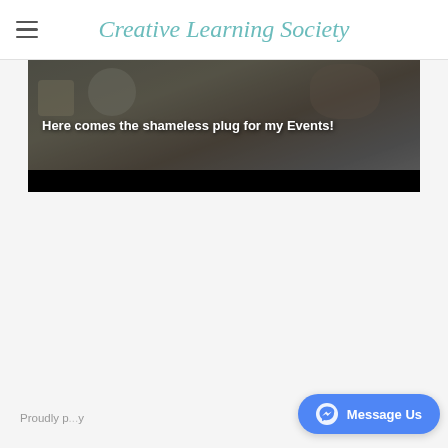Creative Learning Society
[Figure (photo): Cooking/food preparation scene viewed from above with text overlay 'Here comes the shameless plug for my Events!']
Here comes the shameless plug for my Events!
Proudly p... y | Message Us